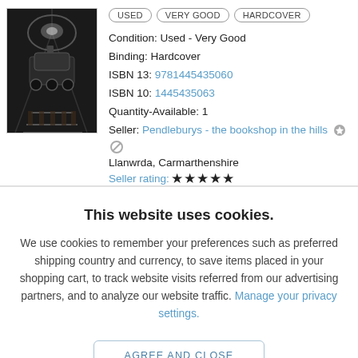[Figure (photo): Black and white photo of a steam locomotive in a tunnel or station, dark atmospheric image]
USED   VERY GOOD   HARDCOVER
Condition:  Used - Very Good
Binding:  Hardcover
ISBN 13:  9781445435060
ISBN 10:  1445435063
Quantity-Available:  1
Seller:  Pendleburys - the bookshop in the hills
Llanwrda, Carmarthenshire
Seller rating: ★★★★★
This website uses cookies.
We use cookies to remember your preferences such as preferred shipping country and currency, to save items placed in your shopping cart, to track website visits referred from our advertising partners, and to analyze our website traffic. Manage your privacy settings.
AGREE AND CLOSE